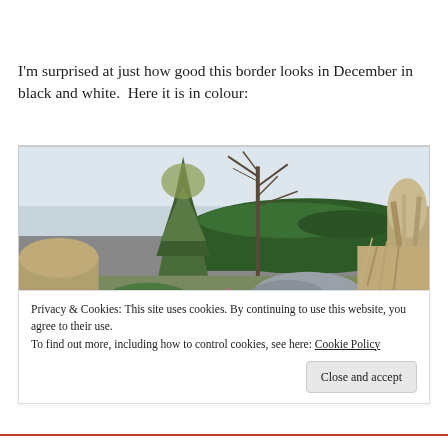I'm surprised at just how good this border looks in December in black and white.  Here it is in colour:
[Figure (photo): Colour photograph of a garden border in December showing an evergreen conifer, bare deciduous trees, dark green hedge, ornamental grasses, and mixed perennial planting under a grey sky.]
Privacy & Cookies: This site uses cookies. By continuing to use this website, you agree to their use.
To find out more, including how to control cookies, see here: Cookie Policy

Close and accept